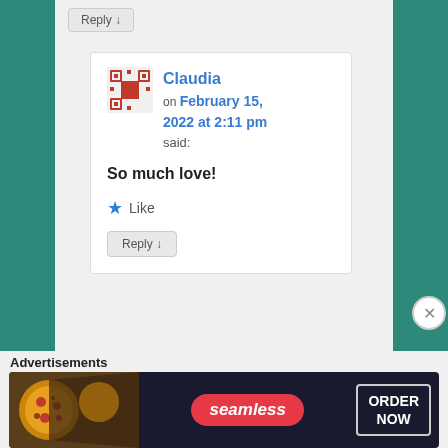Reply ↓
Claudia on February 15, 2022 at 2:11 pm said:
So much love!
★ Like
Reply ↓
Advertisements
[Figure (photo): Seamless advertisement banner with pizza image, Seamless red logo badge, and ORDER NOW button]